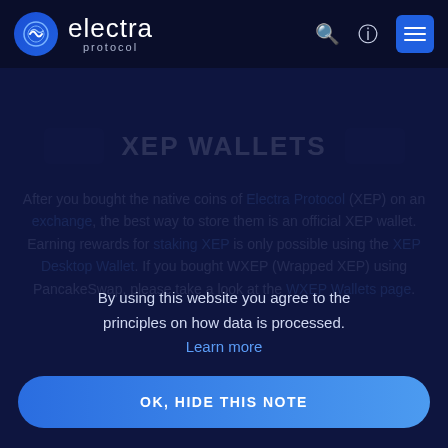[Figure (logo): Electra Protocol logo with circular icon and brand name]
XEP WALLETS
After you bought the native coins of Electra Protocol (XEP) on an exchange, the best way to store them is an official XEP wallet. Earning rewards for staking XEP is only possible using the XEP Desktop Wallet. If you bought WXEP (Wrapped XEP) using PancakeSwap, please take a look at the WXEP Wallets page.
By using this website you agree to the principles on how data is processed.
Learn more
OK, HIDE THIS NOTE